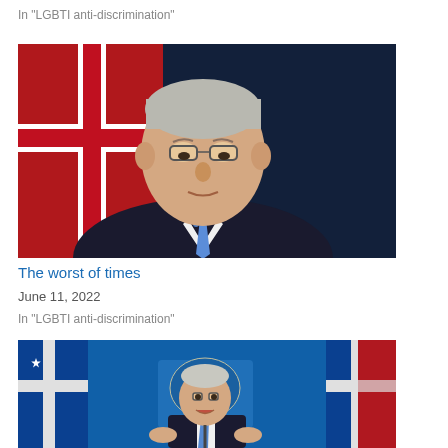In "LGBTI anti-discrimination"
[Figure (photo): Man in dark suit with blue tie, looking downward, in front of an Australian flag with red and blue colours]
The worst of times
June 11, 2022
In "LGBTI anti-discrimination"
[Figure (photo): Man in dark suit with blue tie speaking at a podium with Australian coat of arms, Australian flags visible on either side]